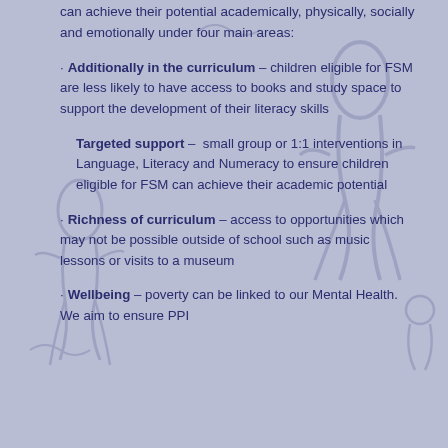can achieve their potential academically, physically, socially and emotionally under four main areas:
Additionally in the curriculum – children eligible for FSM are less likely to have access to books and study space to support the development of their literacy skills
Targeted support – small group or 1:1 interventions in Language, Literacy and Numeracy to ensure children eligible for FSM can achieve their academic potential
Richness of curriculum – access to opportunities which may not be possible outside of school such as music lessons or visits to a museum
Wellbeing – poverty can be linked to our Mental Health. We aim to ensure PPI